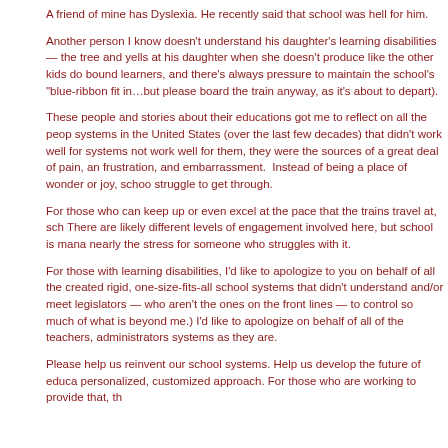A friend of mine has Dyslexia. He recently said that school was hell for him.
Another person I know doesn't understand his daughter's learning disabilities — the tree and yells at his daughter when she doesn't produce like the other kids do bound learners, and there's always pressure to maintain the school's "blue-ribbon fit in…but please board the train anyway, as it's about to depart).
These people and stories about their educations got me to reflect on all the people systems in the United States (over the last few decades) that didn't work well for systems not work well for them, they were the sources of a great deal of pain, and frustration, and embarrassment.  Instead of being a place of wonder or joy, school struggle to get through.
For those who can keep up or even excel at the pace that the trains travel at, school There are likely different levels of engagement involved here, but school is manageable nearly the stress for someone who struggles with it.
For those with learning disabilities, I'd like to apologize to you on behalf of all the created rigid, one-size-fits-all school systems that didn't understand and/or meet legislators — who aren't the ones on the front lines — to control so much of what is beyond me.) I'd like to apologize on behalf of all of the teachers, administrators systems as they are.
Please help us reinvent our school systems. Help us develop the future of education personalized, customized approach. For those who are working to provide that, th